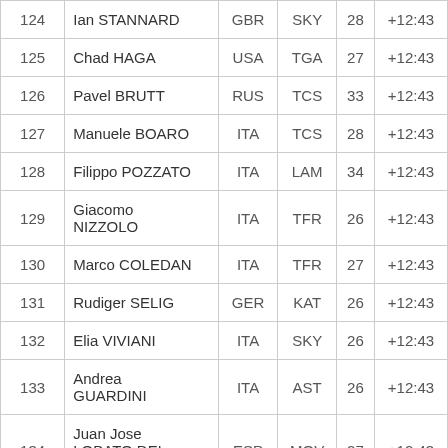| # | Name | NAT | Team | Age | Time |
| --- | --- | --- | --- | --- | --- |
| 124 | Ian STANNARD | GBR | SKY | 28 | +12:43 |
| 125 | Chad HAGA | USA | TGA | 27 | +12:43 |
| 126 | Pavel BRUTT | RUS | TCS | 33 | +12:43 |
| 127 | Manuele BOARO | ITA | TCS | 28 | +12:43 |
| 128 | Filippo POZZATO | ITA | LAM | 34 | +12:43 |
| 129 | Giacomo NIZZOLO | ITA | TFR | 26 | +12:43 |
| 130 | Marco COLEDAN | ITA | TFR | 27 | +12:43 |
| 131 | Rudiger SELIG | GER | KAT | 26 | +12:43 |
| 132 | Elia VIVIANI | ITA | SKY | 26 | +12:43 |
| 133 | Andrea GUARDINI | ITA | AST | 26 | +12:43 |
| 134 | Juan Jose LOBATO DEL VALLE | ESP | MOV | 27 | +12:43 |
| 135 | Robert WAGNER | GER | TLJ | 32 | +12:43 |
| 136 | Nico DENZ | GER | ALM | 21 | +12:43 |
| 137 | Adriano MALORI | ITA | MOV | 27 | +12:43 |